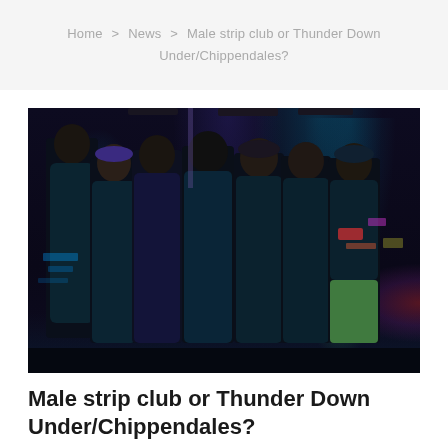Home > News > Male strip club or Thunder Down Under/Chippendales?
[Figure (photo): Group of shirtless male performers on a dark stage with blue and purple stage lighting, posing for a photo. City lights visible in background on right side.]
Male strip club or Thunder Down Under/Chippendales?